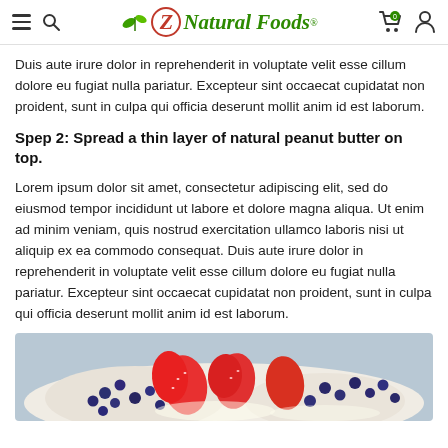Z Natural Foods (navigation bar with hamburger menu, search, logo, cart, and user icons)
Duis aute irure dolor in reprehenderit in voluptate velit esse cillum dolore eu fugiat nulla pariatur. Excepteur sint occaecat cupidatat non proident, sunt in culpa qui officia deserunt mollit anim id est laborum.
Spep 2: Spread a thin layer of natural peanut butter on top.
Lorem ipsum dolor sit amet, consectetur adipiscing elit, sed do eiusmod tempor incididunt ut labore et dolore magna aliqua. Ut enim ad minim veniam, quis nostrud exercitation ullamco laboris nisi ut aliquip ex ea commodo consequat. Duis aute irure dolor in reprehenderit in voluptate velit esse cillum dolore eu fugiat nulla pariatur. Excepteur sint occaecat cupidatat non proident, sunt in culpa qui officia deserunt mollit anim id est laborum.
[Figure (photo): A close-up photograph of a dessert or toast topped with sliced strawberries and blueberries on a light background.]